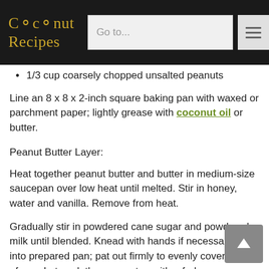Coconut Recipes — Go to...
1/3 cup coarsely chopped unsalted peanuts
Line an 8 x 8 x 2-inch square baking pan with waxed or parchment paper; lightly grease with coconut oil or butter.
Peanut Butter Layer:
Heat together peanut butter and butter in medium-size saucepan over low heat until melted. Stir in honey, water and vanilla. Remove from heat.
Gradually stir in powdered cane sugar and powdered milk until blended. Knead with hands if necessary. Turn into prepared pan; pat out firmly to evenly cover bottom of pan. Let cool, then score top with a fork.
Chocolate Layer: